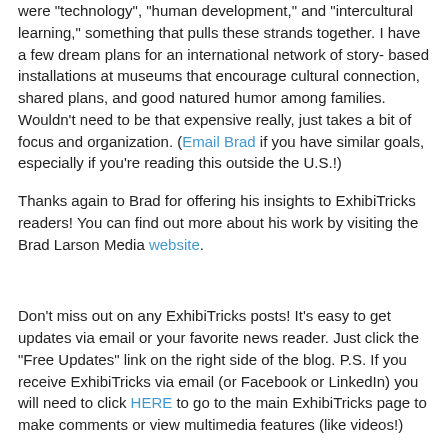were "technology", "human development," and "intercultural learning," something that pulls these strands together. I have a few dream plans for an international network of story-based installations at museums that encourage cultural connection, shared plans, and good natured humor among families. Wouldn't need to be that expensive really, just takes a bit of focus and organization. (Email Brad if you have similar goals, especially if you're reading this outside the U.S.!)
Thanks again to Brad for offering his insights to ExhibiTricks readers! You can find out more about his work by visiting the Brad Larson Media website.
Don't miss out on any ExhibiTricks posts! It's easy to get updates via email or your favorite news reader. Just click the "Free Updates" link on the right side of the blog. P.S. If you receive ExhibiTricks via email (or Facebook or LinkedIn) you will need to click HERE to go to the main ExhibiTricks page to make comments or view multimedia features (like videos!)